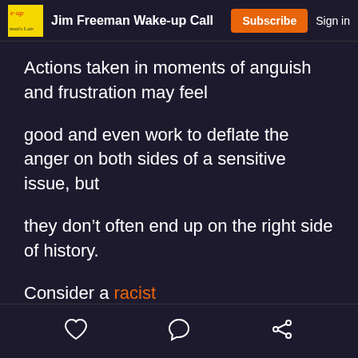Jim Freeman Wake-up Call | Subscribe | Sign in
Actions taken in moments of anguish and frustration may feel

good and even work to deflate the anger on both sides of a sensitive issue, but

they don't often end up on the right side of history.

Consider a racist

and militarized civilian police.

It's not hard to consider, we've
[heart icon] [comment icon] [share icon]